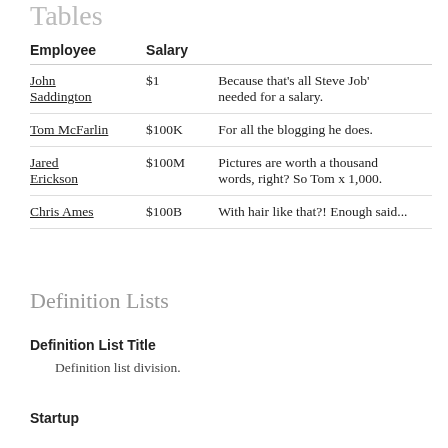Tables
| Employee | Salary |  |
| --- | --- | --- |
| John Saddington | $1 | Because that's all Steve Job' needed for a salary. |
| Tom McFarlin | $100K | For all the blogging he does. |
| Jared Erickson | $100M | Pictures are worth a thousand words, right? So Tom x 1,000. |
| Chris Ames | $100B | With hair like that?! Enough said... |
Definition Lists
Definition List Title
Definition list division.
Startup